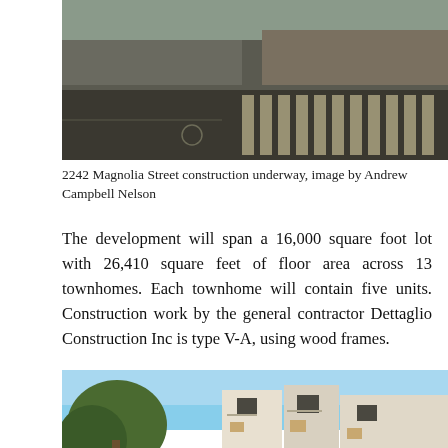[Figure (photo): Aerial/street view of 2242 Magnolia Street construction site underway, showing road with crosswalk markings and an empty lot]
2242 Magnolia Street construction underway, image by Andrew Campbell Nelson
The development will span a 16,000 square foot lot with 26,410 square feet of floor area across 13 townhomes. Each townhome will contain five units. Construction work by the general contractor Dettaglio Construction Inc is type V-A, using wood frames.
[Figure (photo): Architectural rendering/photo of modern white townhome buildings with a tree in the foreground against a blue sky]